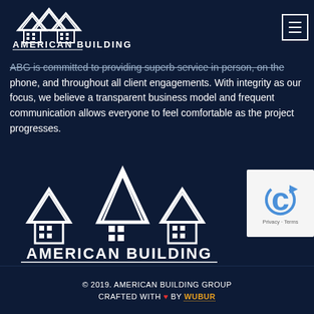[Figure (logo): American Building Group logo - small version in header, white houses/roof silhouette with company name]
[Figure (illustration): Hamburger menu icon - three white horizontal lines in a white-bordered square]
ABG is committed to providing superb service in person, on the phone, and throughout all client engagements. With integrity as our focus, we believe a transparent business model and frequent communication allows everyone to feel comfortable as the project progresses.
[Figure (logo): American Building Group large logo - white houses/roof silhouette with company name AMERICAN BUILDING GROUP]
[Figure (other): reCAPTCHA badge with blue C logo and Privacy - Terms links]
© 2019. AMERICAN BUILDING GROUP
CRAFTED WITH ❤ BY WUBUR